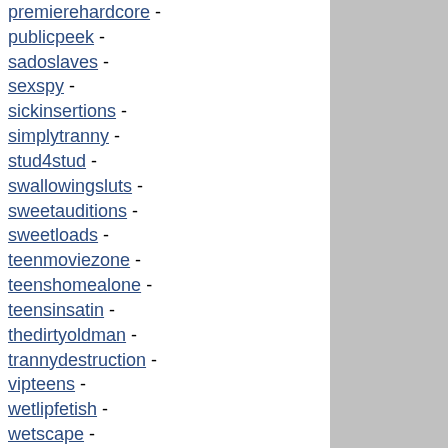premierehardcore -
publicpeek -
sadoslaves -
sexspy -
sickinsertions -
simplytranny -
stud4stud -
swallowingsluts -
sweetauditions -
sweetloads -
teenmoviezone -
teenshomealone -
teensinsatin -
thedirtyoldman -
trannydestruction -
vipteens -
wetlipfetish -
wetscape -
younglatina -
abbraxaporn -
adultmoviezone -
analdestruction -
athensgirls -
barelylegal -